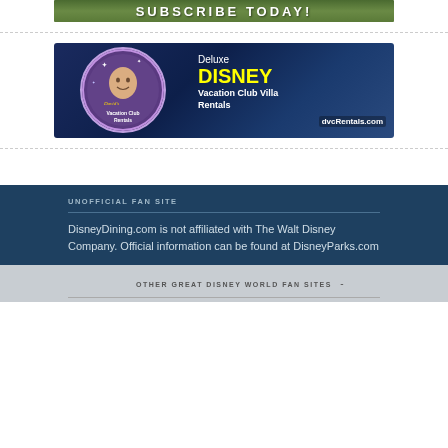[Figure (photo): Subscribe Today banner image with green/nature background and bold white text]
[Figure (illustration): David's Vacation Club Rentals advertisement banner. Dark blue background with circular logo on left showing illustrated character. Right side says 'Deluxe DISNEY Vacation Club Villa Rentals dvcRentals.com' with DISNEY in yellow.]
UNOFFICIAL FAN SITE
DisneyDining.com is not affiliated with The Walt Disney Company. Official information can be found at DisneyParks.com
OTHER GREAT DISNEY WORLD FAN SITES